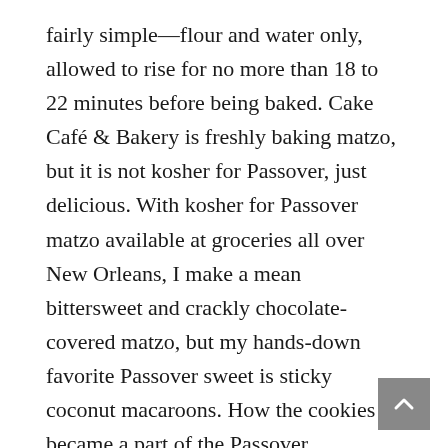fairly simple—flour and water only, allowed to rise for no more than 18 to 22 minutes before being baked. Cake Café & Bakery is freshly baking matzo, but it is not kosher for Passover, just delicious. With kosher for Passover matzo available at groceries all over New Orleans, I make a mean bittersweet and crackly chocolate-covered matzo, but my hands-down favorite Passover sweet is sticky coconut macaroons. How the cookies became a part of the Passover observance is unknown, but they hold a starring role at many Seder tables, especially mine.
Finally, winding up the month the weekend of April 25 is the New Orleans Jazz & Heritage Festival. Most everyone knows that some of the best eats in New